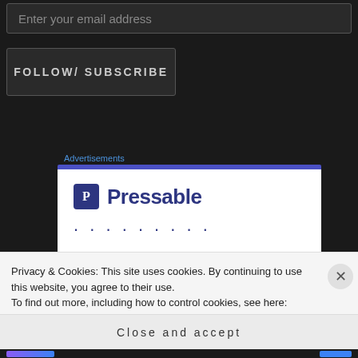Enter your email address
FOLLOW/ SUBSCRIBE
Advertisements
[Figure (logo): Pressable logo with dark blue P icon and Pressable wordmark, followed by dots]
Privacy & Cookies: This site uses cookies. By continuing to use this website, you agree to their use.
To find out more, including how to control cookies, see here: Cookie Policy
Close and accept